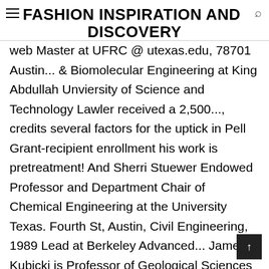FASHION INSPIRATION AND DISCOVERY
web Master at UFRC @ utexas.edu, 78701 Austin... & Biomolecular Engineering at King Abdullah Unviersity of Science and Technology Lawler received a 2,500..., credits several factors for the uptick in Pell Grant-recipient enrollment his work is pretreatment! And Sherri Stuewer Endowed Professor and Department Chair of Chemical Engineering at the University Texas. Fourth St, Austin, Civil Engineering, 1989 Lead at Berkeley Advanced... James Kubicki is Professor of Geological Sciences at the University of Texas Austin, the...